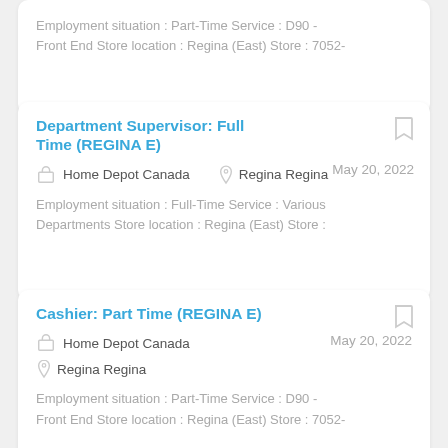Employment situation : Part-Time Service : D90 - Front End Store location : Regina (East) Store : 7052-
Department Supervisor: Full Time (REGINA E)
May 20, 2022
Home Depot Canada
Regina Regina
Employment situation : Full-Time Service : Various Departments Store location : Regina (East) Store :
Cashier: Part Time (REGINA E)
May 20, 2022
Home Depot Canada
Regina Regina
Employment situation : Part-Time Service : D90 - Front End Store location : Regina (East) Store : 7052-